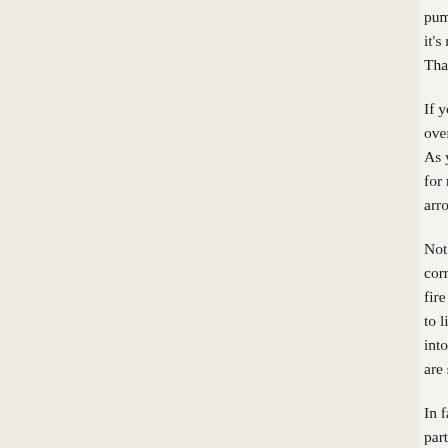pummeling downed enemies. Still, melee combat it's rather limited (likely deliberately so) and Thankfully, your bow feels awesome.
If you've played the Tomb Raider reboots you over-the-shoulder zoom and feel of the controls. As you progress you'll gain the ability to control for more precise shots. You'll also eventually arrows at once via the upgrade system.
Not only does fighting with a bow feel great, corresponding enemy weaknesses lead to amplified fire arrow will be your best friend — setting to limit their effectiveness and deal damage – into facing each other and blowing off critical are simply tremendous fun.
In fact, fighting with the bow is so fun we ran particularly once we acquired more powerful corresponding ammo. Of the other weapons,